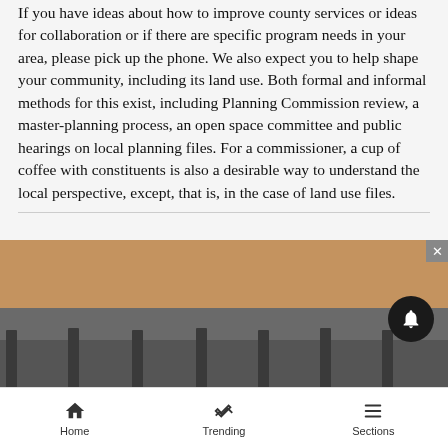If you have ideas about how to improve county services or ideas for collaboration or if there are specific program needs in your area, please pick up the phone. We also expect you to help shape your community, including its land use. Both formal and informal methods for this exist, including Planning Commission review, a master-planning process, an open space committee and public hearings on local planning files. For a commissioner, a cup of coffee with constituents is also a desirable way to understand the local perspective, except, that is, in the case of land use files.
[Figure (photo): Partial photograph showing a tan/brown upper section and a gray lower section with fence posts visible at the bottom, partially cropped.]
Home   Trending   Sections